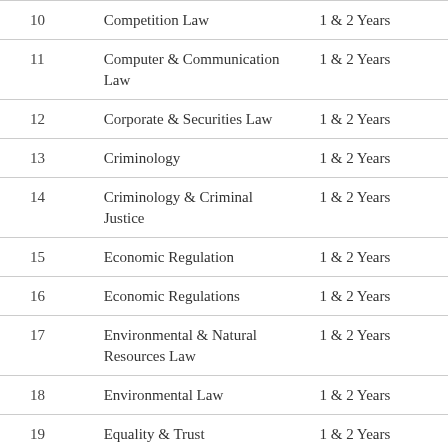|  | Subject | Year |
| --- | --- | --- |
| 10 | Competition Law | 1 & 2 Years |
| 11 | Computer & Communication Law | 1 & 2 Years |
| 12 | Corporate & Securities Law | 1 & 2 Years |
| 13 | Criminology | 1 & 2 Years |
| 14 | Criminology & Criminal Justice | 1 & 2 Years |
| 15 | Economic Regulation | 1 & 2 Years |
| 16 | Economic Regulations | 1 & 2 Years |
| 17 | Environmental & Natural Resources Law | 1 & 2 Years |
| 18 | Environmental Law | 1 & 2 Years |
| 19 | Equality & Trust | 1 & 2 Years |
| 20 | European Law | 1 & 2 Years |